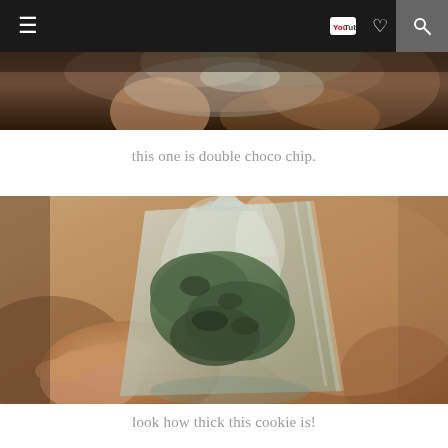≡  [YouTube icon] [heart icon] [search icon]
[Figure (photo): Partial view of a hand holding a clear plastic bag with cookies, blurred/dark tones, cropped top portion visible]
this one is double choco chip.
[Figure (photo): A hand holding a clear plastic bag containing thick green matcha cookies, photographed up close with blurred warm background]
look how thick this cookie is!